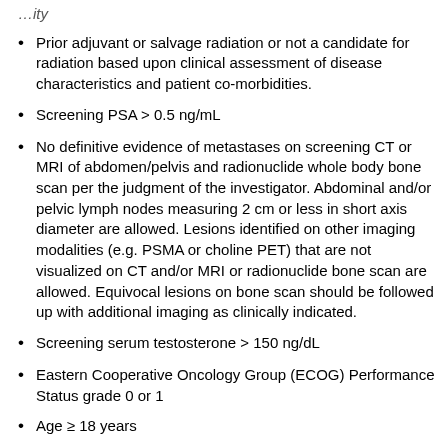Prior adjuvant or salvage radiation or not a candidate for radiation based upon clinical assessment of disease characteristics and patient co-morbidities.
Screening PSA > 0.5 ng/mL
No definitive evidence of metastases on screening CT or MRI of abdomen/pelvis and radionuclide whole body bone scan per the judgment of the investigator. Abdominal and/or pelvic lymph nodes measuring 2 cm or less in short axis diameter are allowed. Lesions identified on other imaging modalities (e.g. PSMA or choline PET) that are not visualized on CT and/or MRI or radionuclide bone scan are allowed. Equivocal lesions on bone scan should be followed up with additional imaging as clinically indicated.
Screening serum testosterone > 150 ng/dL
Eastern Cooperative Oncology Group (ECOG) Performance Status grade 0 or 1
Age ≥ 18 years